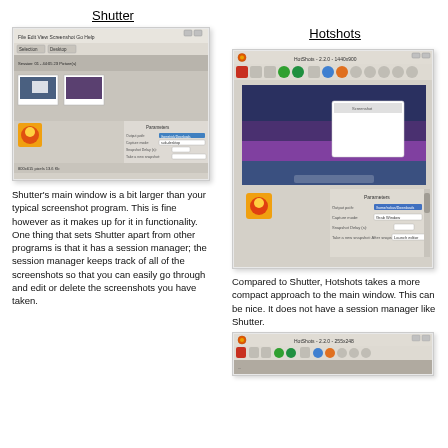Shutter
[Figure (screenshot): Shutter screenshot tool main window showing session manager and screenshot preview]
Shutter's main window is a bit larger than your typical screenshot program. This is fine however as it makes up for it in functionality. One thing that sets Shutter apart from other programs is that it has a session manager; the session manager keeps track of all of the screenshots so that you can easily go through and edit or delete the screenshots you have taken.
Hotshots
[Figure (screenshot): Hotshots screenshot tool main window showing parameters panel with output path, capture mode, snapshot delay and after snapshot options]
Compared to Shutter, Hotshots takes a more compact approach to the main window. This can be nice. It does not have a session manager like Shutter.
[Figure (screenshot): Hotshots toolbar/window strip showing compact view]